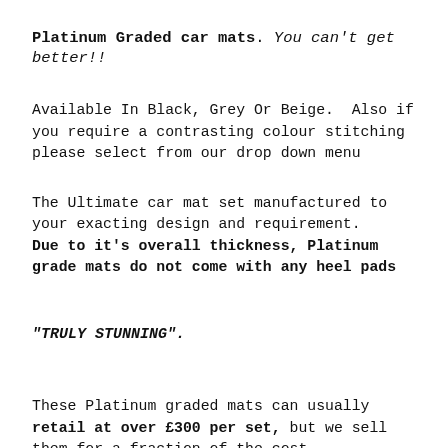Platinum Graded car mats. You can't get better!!
Available In Black, Grey Or Beige.  Also if you require a contrasting colour stitching please select from our drop down menu
The Ultimate car mat set manufactured to your exacting design and requirement. Due to it's overall thickness, Platinum grade mats do not come with any heel pads
"TRULY STUNNING".
These Platinum graded mats can usually retail at over £300 per set, but we sell them for a fraction of the cost
With over 20 years of experience in the